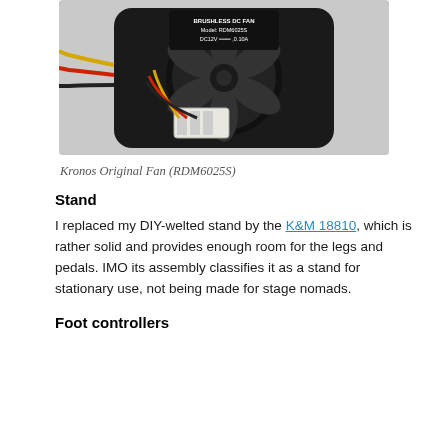[Figure (photo): Photo of a Kronos Original Fan (RDM6025S), a black brushless DC fan with yellow, red, and black wires and a white connector, model label visible on top.]
Kronos Original Fan (RDM6025S)
Stand
I replaced my DIY-welted stand by the K&M 18810, which is rather solid and provides enough room for the legs and pedals. IMO its assembly classifies it as a stand for stationary use, not being made for stage nomads.
Foot controllers